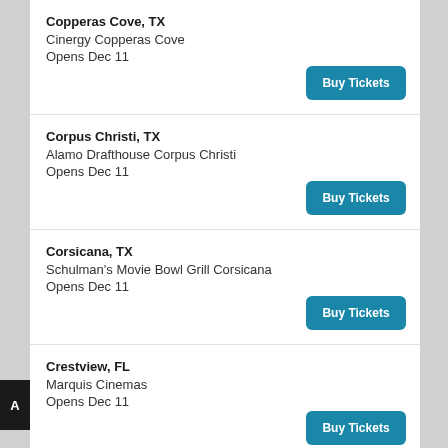Copperas Cove, TX
Cinergy Copperas Cove
Opens Dec 11
Buy Tickets
Corpus Christi, TX
Alamo Drafthouse Corpus Christi
Opens Dec 11
Buy Tickets
Corsicana, TX
Schulman's Movie Bowl Grill Corsicana
Opens Dec 11
Buy Tickets
Crestview, FL
Marquis Cinemas
Opens Dec 11
Buy Tickets